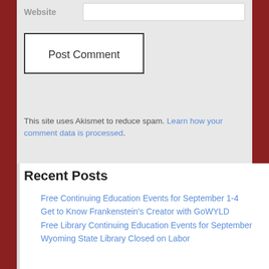Website
Post Comment
This site uses Akismet to reduce spam. Learn how your comment data is processed.
Recent Posts
Free Continuing Education Events for September 1-4
Get to Know Frankenstein's Creator with GoWYLD
Free Library Continuing Education Events for September
Wyoming State Library Closed on Labor